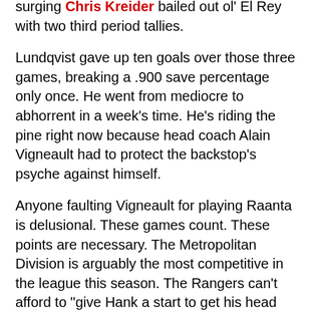surging Chris Kreider bailed out ol' El Rey with two third period tallies.
Lundqvist gave up ten goals over those three games, breaking a .900 save percentage only once. He went from mediocre to abhorrent in a week's time. He's riding the pine right now because head coach Alain Vigneault had to protect the backstop's psyche against himself.
Anyone faulting Vigneault for playing Raanta is delusional. These games count. These points are necessary. The Metropolitan Division is arguably the most competitive in the league this season. The Rangers can't afford to "give Hank a start to get his head straight because he deserves a break." There is